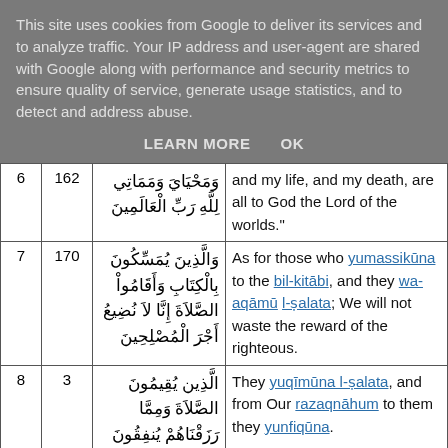This site uses cookies from Google to deliver its services and to analyze traffic. Your IP address and user-agent are shared with Google along with performance and security metrics to ensure quality of service, generate usage statistics, and to detect and address abuse.
LEARN MORE   OK
|  |  | Arabic | Translation |
| --- | --- | --- | --- |
| 6 | 162 | وَمَحْيَايَ وَمَمَاتِي لِلَّهِ رَبِّ الْعَالَمِينَ | and my life, and my death, are all to God the Lord of the worlds." |
| 7 | 170 | وَالَّذِينَ يُمَسِّكُونَ بِالْكِتَابِ وَأَقَامُواْ الصَّلاَةَ إِنَّا لاَ نُضِيعُ أَجْرَ الْمُصْلِحِينَ | As for those who yumassikūna to the bil-kitābi, and they wa-aqāmū l-ṣalata; We will not waste the reward of the righteous. |
| 8 | 3 | الَّذِين يُقِيمُونَ الصَّلاَةَ وَمِمَّا رَزَقْنَاهُمْ يُنفِقُونَ | They yuqīmūna l-ṣalata, and from Our razaqnāhum to them they yunfiqūna. |